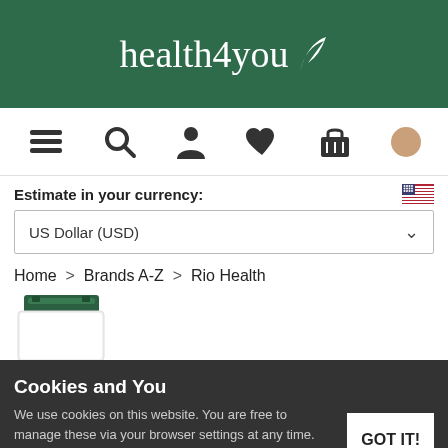[Figure (logo): health4you logo with white leaf on dark green background]
[Figure (screenshot): Navigation bar with menu (hamburger), search, account, wishlist (heart), basket icons and a beige circle]
Estimate in your currency:
[Figure (screenshot): US flag icon]
US Dollar (USD)
Home > Brands A-Z > Rio Health
[Figure (photo): Partial view of a supplement bottle with dark green cap]
Cookies and You
We use cookies on this website. You are free to manage these via your browser settings at any time. For more about how we use cookies, please see our Cookie Policy.
GOT IT!